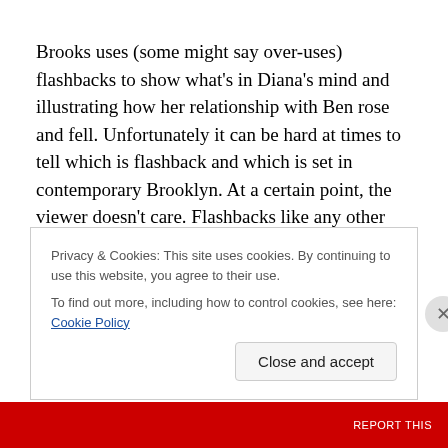Brooks uses (some might say over-uses) flashbacks to show what's in Diana's mind and illustrating how her relationship with Ben rose and fell. Unfortunately it can be hard at times to tell which is flashback and which is set in contemporary Brooklyn. At a certain point, the viewer doesn't care. Flashbacks like any other cinematic tool should be used sparingly and only when truly necessary; after awhile the flashbacks actually hinder the progress of
Privacy & Cookies: This site uses cookies. By continuing to use this website, you agree to their use.
To find out more, including how to control cookies, see here: Cookie Policy